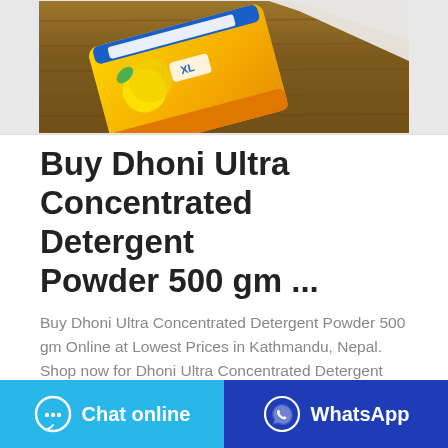[Figure (photo): Photo of Dhoni Ultra Concentrated Detergent Powder 500 gm yellow packaging on a wooden surface]
Buy Dhoni Ultra Concentrated Detergent Powder 500 gm ...
Buy Dhoni Ultra Concentrated Detergent Powder 500 gm Online at Lowest Prices in Kathmandu, Nepal. Shop now for Dhoni Ultra Concentrated Detergent Powder 500 gm Only at Nepal's Best Online Store at OkDam, CoD available!
[Figure (other): Chat online button (cyan) with chat bubble icon]
[Figure (other): WhatsApp button (dark blue) with WhatsApp icon]